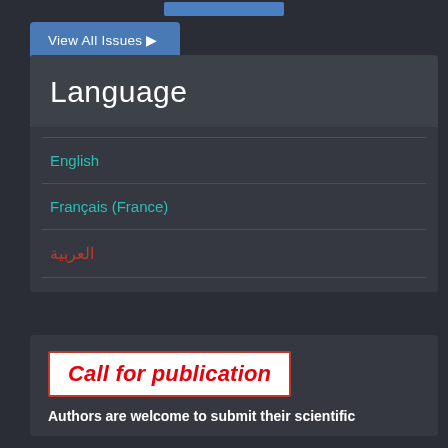View All Issues ▷
Language
English
Français (France)
العربية
Call for publication
Authors are welcome to submit their scientific